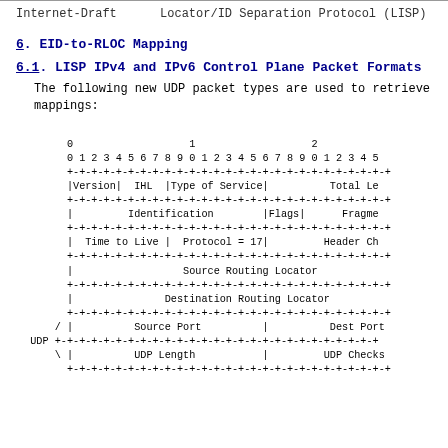Internet-Draft      Locator/ID Separation Protocol (LISP)
6.  EID-to-RLOC Mapping
6.1.  LISP IPv4 and IPv6 Control Plane Packet Formats
The following new UDP packet types are used to retrieve
mappings:
[Figure (schematic): IPv4/UDP packet header format diagram showing bit fields: Version, IHL, Type of Service, Total Length, Identification, Flags, Fragment Offset, Time to Live, Protocol=17, Header Checksum, Source Routing Locator, Destination Routing Locator, Source Port, Dest Port, UDP Length, UDP Checksum]